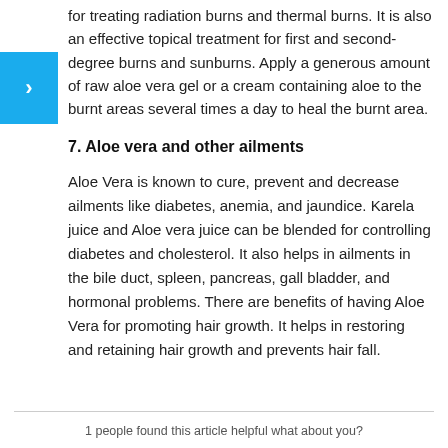for treating radiation burns and thermal burns. It is also an effective topical treatment for first and second-degree burns and sunburns. Apply a generous amount of raw aloe vera gel or a cream containing aloe to the burnt areas several times a day to heal the burnt area.
7. Aloe vera and other ailments
Aloe Vera is known to cure, prevent and decrease ailments like diabetes, anemia, and jaundice. Karela juice and Aloe vera juice can be blended for controlling diabetes and cholesterol. It also helps in ailments in the bile duct, spleen, pancreas, gall bladder, and hormonal problems. There are benefits of having Aloe Vera for promoting hair growth. It helps in restoring and retaining hair growth and prevents hair fall.
1 people found this article helpful what about you?